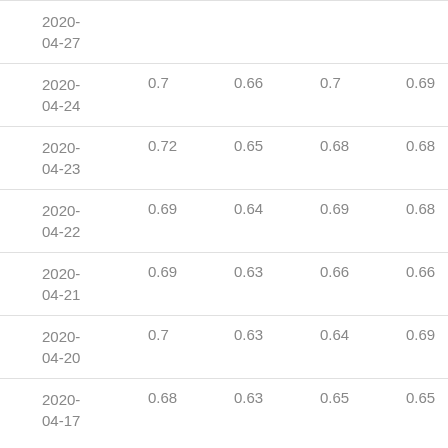| 2020-04-27 |  |  |  |  |  |
| 2020-04-24 | 0.7 | 0.66 | 0.7 | 0.69 | 258300.0 |
| 2020-04-23 | 0.72 | 0.65 | 0.68 | 0.68 | 402300.0 |
| 2020-04-22 | 0.69 | 0.64 | 0.69 | 0.68 | 411300.0 |
| 2020-04-21 | 0.69 | 0.63 | 0.66 | 0.66 | 593500.0 |
| 2020-04-20 | 0.7 | 0.63 | 0.64 | 0.69 | 673600.0 |
| 2020-04-17 | 0.68 | 0.63 | 0.65 | 0.65 | 314200.0 |